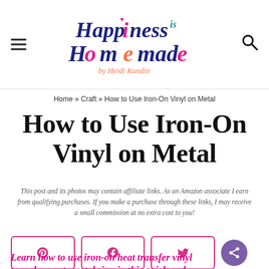[Figure (logo): Happiness is Homemade by Heidi Kundin logo in colorful serif font with dark blue, pink, orange, and teal colors]
Home » Craft » How to Use Iron-On Vinyl on Metal
How to Use Iron-On Vinyl on Metal
This post and its photos may contain affiliate links. As an Amazon associate I earn from qualifying purchases. If you make a purchase through these links, I may receive a small commission at no extra cost to you!
[Figure (infographic): Social share buttons for Pinterest, Facebook, and Twitter with pink borders and icons, plus a purple share floating button]
Learn how to use iron-on heat transfer vinyl to make a cute metal sign in this quick and